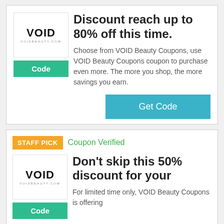[Figure (logo): VOID Beauty logo with text VOIDBEAUTY.COM]
Discount reach up to 80% off this time.
Choose from VOID Beauty Coupons, use VOID Beauty Coupons coupon to purchase even more. The more you shop, the more savings you earn.
Get Code
STAFF PICK
Coupon Verified
[Figure (logo): VOID Beauty logo with text VOIDBEAUTY.COM]
Don't skip this 50% discount for your
For limited time only, VOID Beauty Coupons is offering